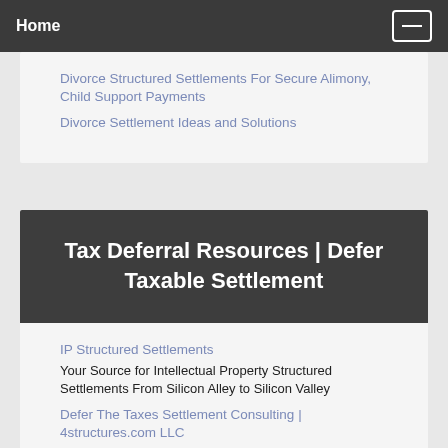Home
Divorce Structured Settlements For Secure Alimony, Child Support Payments
Divorce Settlement Ideas and Solutions
Tax Deferral Resources | Defer Taxable Settlement
IP Structured Settlements
Your Source for Intellectual Property Structured Settlements From Silicon Alley to Silicon Valley
Defer The Taxes Settlement Consulting | 4structures.com LLC
Keep More of Your Taxable Settlement